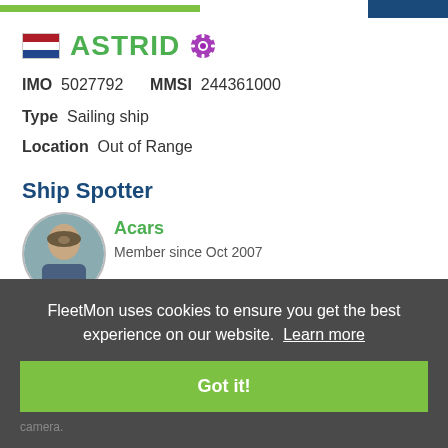ASTRID
IMO 5027792  MMSI 244361000
Type  Sailing ship
Location  Out of Range
Ship Spotter
[Figure (photo): Circular avatar photo of ship spotter Acars]
Acars
Member since Oct 2007
FleetMon uses cookies to ensure you get the best experience on our website. Learn more
Got it!